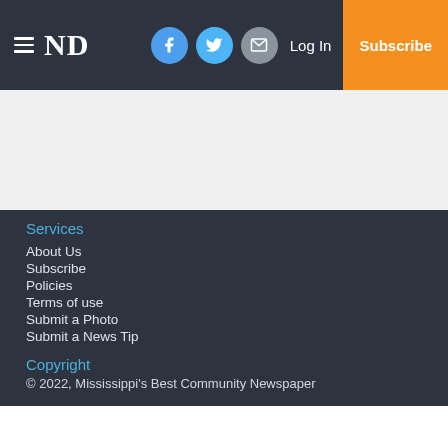ND — Log In — Subscribe (navigation bar with Facebook, Twitter, Email icons)
Services
About Us
Subscribe
Policies
Terms of use
Submit a Photo
Submit a News Tip
Copyright
© 2022, Mississippi's Best Community Newspaper